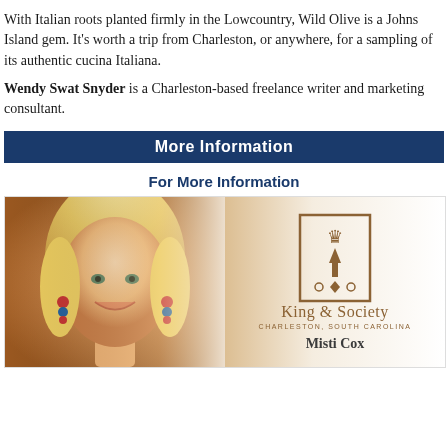With Italian roots planted firmly in the Lowcountry, Wild Olive is a Johns Island gem. It’s worth a trip from Charleston, or anywhere, for a sampling of its authentic cucina Italiana.
Wendy Swat Snyder is a Charleston-based freelance writer and marketing consultant.
More Information
For More Information
[Figure (photo): Photo of a smiling blonde woman with colorful earrings on the left side, and on the right side a King & Society real estate logo with text 'King & Society, Charleston, South Carolina' and 'Misti Cox' at the bottom]